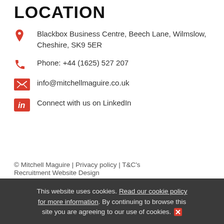LOCATION
Blackbox Business Centre, Beech Lane, Wilmslow, Cheshire, SK9 5ER
Phone: +44 (1625) 527 207
info@mitchellmaguire.co.uk
Connect with us on LinkedIn
© Mitchell Maguire  |  Privacy policy  |  T&C's
Recruitment Website Design
This website uses cookies. Read our cookie policy for more information. By continuing to browse this site you are agreeing to our use of cookies.